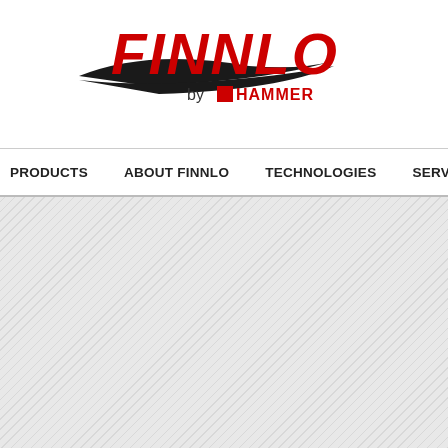[Figure (logo): FINNLO by HAMMER logo — FINNLO in large red letters with a black swoosh/feather accent, 'by HAMMER' below in smaller text with HAMMER in red and a red square preceding it]
PRODUCTS   ABOUT FINNLO   TECHNOLOGIES   SERV
[Figure (other): Diagonal hatched grey pattern background area filling the lower portion of the page]